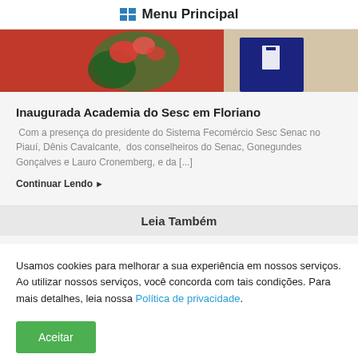Menu Principal
[Figure (photo): Partial photo showing a person in a dark jacket and someone with red flowers/plants against a red background]
Inaugurada Academia do Sesc em Floriano
Com a presença do presidente do Sistema Fecomércio Sesc Senac no Piauí, Dênis Cavalcante,  dos conselheiros do Senac, Gonegundes Gonçalves e Lauro Cronemberg, e da [...]
Continuar Lendo ▶
Leia Também
Usamos cookies para melhorar a sua experiência em nossos serviços. Ao utilizar nossos serviços, você concorda com tais condições. Para mais detalhes, leia nossa Política de privacidade.
Aceitar